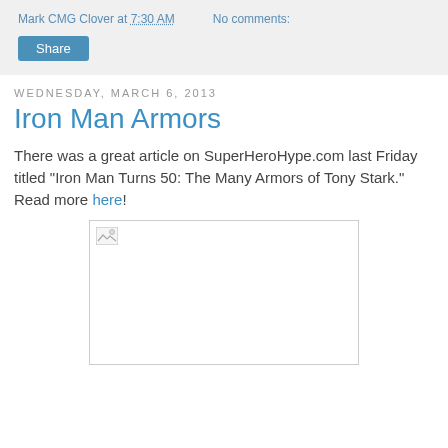Mark CMG Clover at 7:30 AM   No comments:
Share
Wednesday, March 6, 2013
Iron Man Armors
There was a great article on SuperHeroHype.com last Friday titled "Iron Man Turns 50: The Many Armors of Tony Stark." Read more here!
[Figure (photo): Broken image placeholder — image failed to load, shown as empty white rectangle with broken image icon in top-left corner]